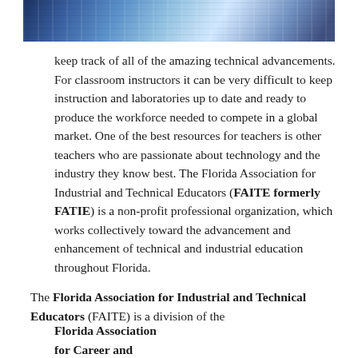[Figure (photo): Blue-toned photograph of electronic/audio equipment with buttons and controls, cropped at top of page]
keep track of all of the amazing technical advancements. For classroom instructors it can be very difficult to keep instruction and laboratories up to date and ready to produce the workforce needed to compete in a global market. One of the best resources for teachers is other teachers who are passionate about technology and the industry they know best. The Florida Association for Industrial and Technical Educators (FAITE formerly FATIE) is a non-profit professional organization, which works collectively toward the advancement and enhancement of technical and industrial education throughout Florida.
The Florida Association for Industrial and Technical Educators (FAITE) is a division of the
Florida Association for Career and Technical Educators